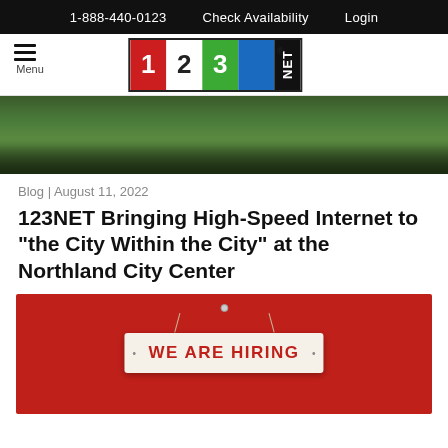1-888-440-0123    Check Availability    Login
[Figure (logo): 123NET logo with colored number blocks and NET text on dark background]
[Figure (photo): Outdoor aerial or street-level photo of Northland City Center with greenery and parking area]
Blog | August 11, 2022
123NET Bringing High-Speed Internet to “the City Within the City” at the Northland City Center
[Figure (photo): Red background image with a hanging sign reading WE ARE HIRING]